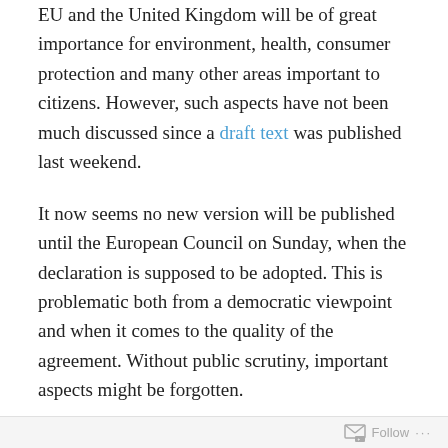EU and the United Kingdom will be of great importance for environment, health, consumer protection and many other areas important to citizens. However, such aspects have not been much discussed since a draft text was published last weekend.
It now seems no new version will be published until the European Council on Sunday, when the declaration is supposed to be adopted. This is problematic both from a democratic viewpoint and when it comes to the quality of the agreement. Without public scrutiny, important aspects might be forgotten.
Take environment. It is difficult to understand why “environment” or “sustainable development” is not mentioned in the initial principles, since such wording is
Follow